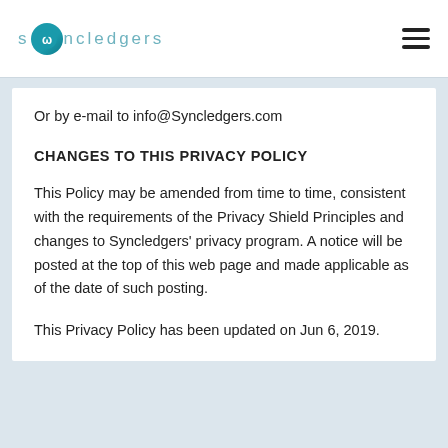[Figure (logo): Syncledgers logo with teal circle icon containing a stylized symbol, followed by the text 'syncledgers' in teal spaced letters]
Or by e-mail to info@Syncledgers.com
CHANGES TO THIS PRIVACY POLICY
This Policy may be amended from time to time, consistent with the requirements of the Privacy Shield Principles and changes to Syncledgers' privacy program. A notice will be posted at the top of this web page and made applicable as of the date of such posting.
This Privacy Policy has been updated on Jun 6, 2019.